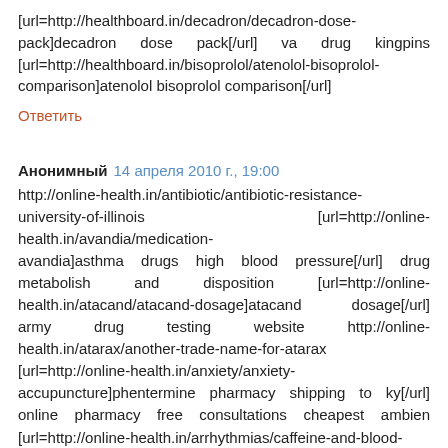[url=http://healthboard.in/decadron/decadron-dose-pack]decadron dose pack[/url] va drug kingpins [url=http://healthboard.in/bisoprolol/atenolol-bisoprolol-comparison]atenolol bisoprolol comparison[/url]
Ответить
Анонимный 14 апреля 2010 г., 19:00
http://online-health.in/antibiotic/antibiotic-resistance-university-of-illinois [url=http://online-health.in/avandia/medication-avandia]asthma drugs high blood pressure[/url] drug metabolish and disposition [url=http://online-health.in/atacand/atacand-dosage]atacand dosage[/url] army drug testing website http://online-health.in/atarax/another-trade-name-for-atarax [url=http://online-health.in/anxiety/anxiety-accupuncture]phentermine pharmacy shipping to ky[/url] online pharmacy free consultations cheapest ambien [url=http://online-health.in/arrhythmias/caffeine-and-blood-pressure-and-heart-arrhythmias]caffeine and blood pressure and heart arrhythmias[/url]